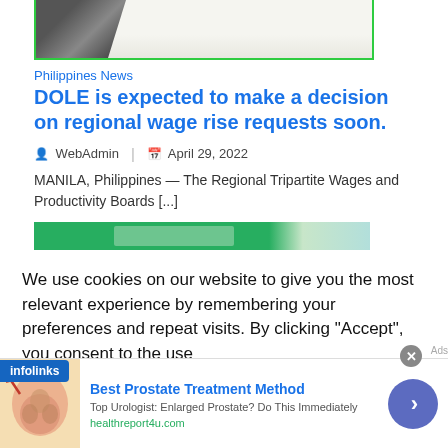[Figure (photo): Partial top of a news article image with green border, showing cropped dark figure]
Philippines News
DOLE is expected to make a decision on regional wage rise requests soon.
WebAdmin  |  April 29, 2022
MANILA, Philippines — The Regional Tripartite Wages and Productivity Boards [...]
[Figure (photo): Green banner image strip, partially visible]
We use cookies on our website to give you the most relevant experience by remembering your preferences and repeat visits. By clicking “Accept”, you consent to the use
[Figure (infographic): Infolinks advertisement badge and ad banner: Best Prostate Treatment Method]